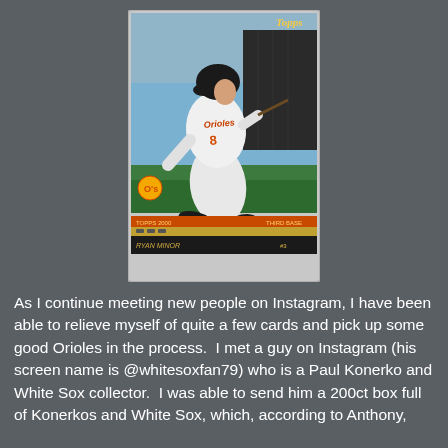[Figure (photo): A Topps baseball card showing a Baltimore Orioles player (number 8) in a white uniform in a batting stance. The card has an orange bar, gold bar, and black name strip at the bottom. A Topps logo appears in the top right, and an Orioles logo in the bottom left. The bottom of the card reads 'TOPPS 2000', 'THIRD BASE', and what appears to be the player's name.]
As I continue meeting new people on Instagram, I have been able to relieve myself of quite a few cards and pick up some good Orioles in the process.  I met a guy on Instagram (his screen name is @whitesoxfan79) who is a Paul Konerko and White Sox collector.  I was able to send him a 200ct box full of Konerkos and White Sox, which, according to Anthony,